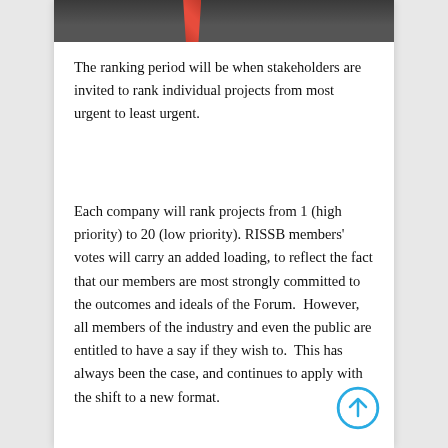[Figure (photo): Top portion of a man in a dark suit with a red polka-dot tie, cropped at the shoulders]
The ranking period will be when stakeholders are invited to rank individual projects from most urgent to least urgent.
Each company will rank projects from 1 (high priority) to 20 (low priority). RISSB members' votes will carry an added loading, to reflect the fact that our members are most strongly committed to the outcomes and ideals of the Forum.  However, all members of the industry and even the public are entitled to have a say if they wish to.  This has always been the case, and continues to apply with the shift to a new format.